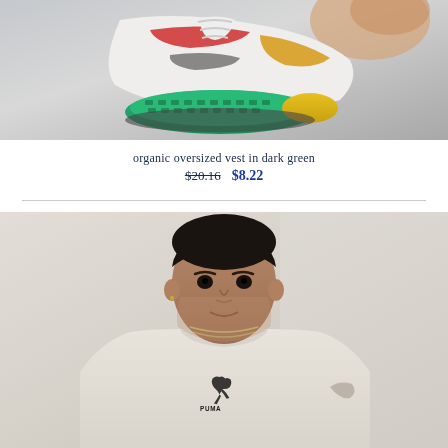[Figure (photo): Close-up photo of a colorful sneaker sole being held, showing green and yellow sole with grey tread pattern, white upper with red and gold accents, against a light grey background]
organic oversized vest in dark green
$20.16  $8.22
[Figure (photo): Photo of a young man wearing a cream/off-white Puma t-shirt with the Puma logo on the chest, wearing a chain necklace, with tattoos visible on his arm, against a light background]